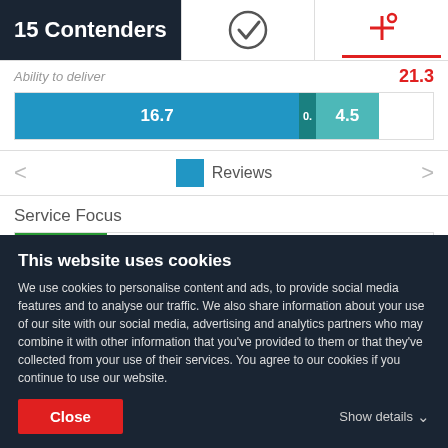15 Contenders
Ability to deliver
21.3
[Figure (bar-chart): Ability to deliver]
Reviews
Service Focus
[Figure (stacked-bar-chart): Service Focus]
This website uses cookies
We use cookies to personalise content and ads, to provide social media features and to analyse our traffic. We also share information about your use of our site with our social media, advertising and analytics partners who may combine it with other information that you've provided to them or that they've collected from your use of their services. You agree to our cookies if you continue to use our website.
Close
Show details